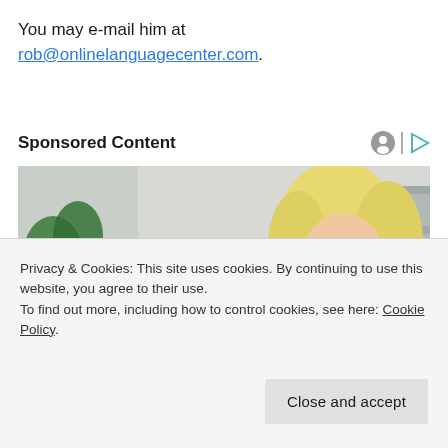You may e-mail him at rob@onlinelanguagecenter.com.
Sponsored Content
[Figure (photo): Woman with blonde hair wearing a yellow knit sweater, looking down, possibly reading or writing. Green plants and neutral interior visible in background.]
Privacy & Cookies: This site uses cookies. By continuing to use this website, you agree to their use.
To find out more, including how to control cookies, see here: Cookie Policy.